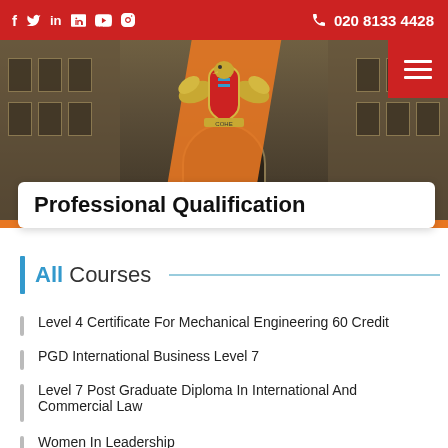f  twitter  in  youtube  skype    020 8133 4428
[Figure (photo): Hero image of a grand historic stone building facade (COHE college), with a gold eagle crest logo centered, orange diagonal accent overlay, red menu button top right.]
Professional Qualification
All Courses
Level 4 Certificate For Mechanical Engineering 60 Credit
PGD International Business Level 7
Level 7 Post Graduate Diploma In International And Commercial Law
Women In Leadership
Level 3 Award In Intermediate Food Hygiene